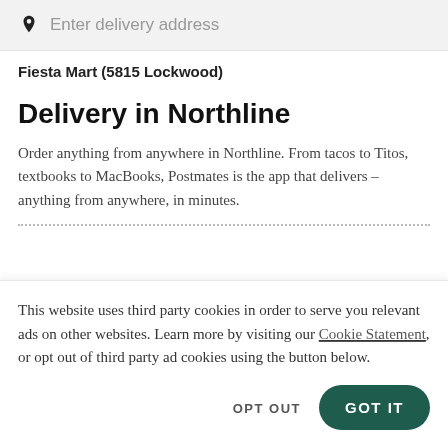[Figure (screenshot): Search bar with location pin icon and placeholder text 'Enter delivery address']
Fiesta Mart (5815 Lockwood)
Delivery in Northline
Order anything from anywhere in Northline. From tacos to Titos, textbooks to MacBooks, Postmates is the app that delivers – anything from anywhere, in minutes.
This website uses third party cookies in order to serve you relevant ads on other websites. Learn more by visiting our Cookie Statement, or opt out of third party ad cookies using the button below.
OPT OUT
GOT IT